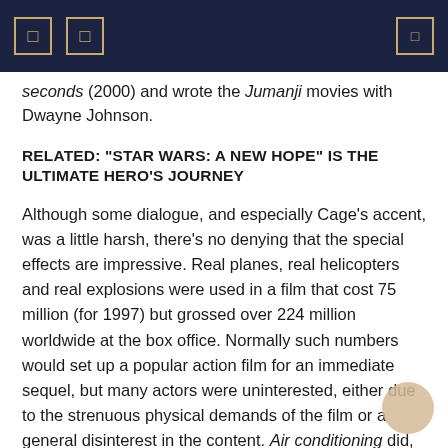seconds (2000) and wrote the Jumanji movies with Dwayne Johnson.
RELATED: “STAR WARS: A NEW HOPE” IS THE ULTIMATE HERO’S JOURNEY
Although some dialogue, and especially Cage’s accent, was a little harsh, there’s no denying that the special effects are impressive. Real planes, real helicopters and real explosions were used in a film that cost 75 million (for 1997) but grossed over 224 million worldwide at the box office. Normally such numbers would set up a popular action film for an immediate sequel, but many actors were uninterested, either due to the strenuous physical demands of the film or a general disinterest in the content. Air conditioning did, however, receive two Oscar nominations, one for Best Sound and one for Best Original Song.